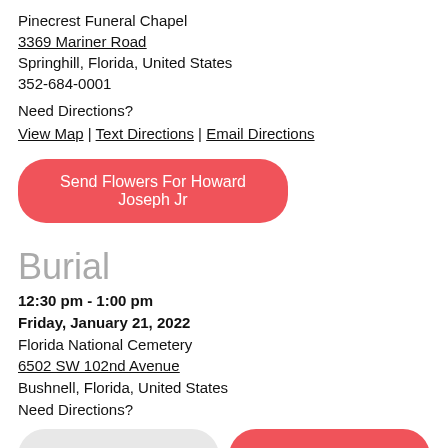Pinecrest Funeral Chapel
3369 Mariner Road
Springhill, Florida, United States
352-684-0001
Need Directions?
View Map | Text Directions | Email Directions
Send Flowers For Howard Joseph Jr
Burial
12:30 pm - 1:00 pm
Friday, January 21, 2022
Florida National Cemetery
6502 SW 102nd Avenue
Bushnell, Florida, United States
Need Directions?
Share A Memory
Send Flowers